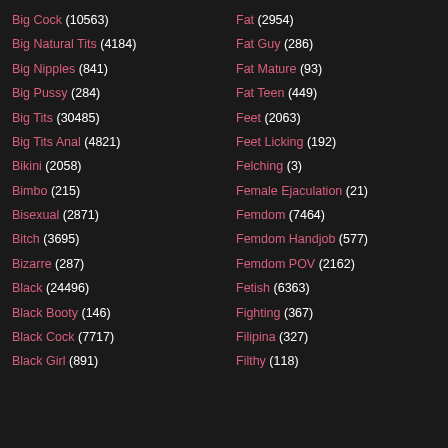Big Cock (10563)
Big Natural Tits (4184)
Big Nipples (841)
Big Pussy (284)
Big Tits (30485)
Big Tits Anal (4821)
Bikini (2058)
Bimbo (215)
Bisexual (2871)
Bitch (3695)
Bizarre (287)
Black (24496)
Black Booty (146)
Black Cock (7717)
Black Girl (891)
Fat (2954)
Fat Guy (286)
Fat Mature (93)
Fat Teen (449)
Feet (2063)
Feet Licking (192)
Felching (3)
Female Ejaculation (21)
Femdom (7464)
Femdom Handjob (577)
Femdom POV (2162)
Fetish (6363)
Fighting (367)
Filipina (327)
Filthy (118)